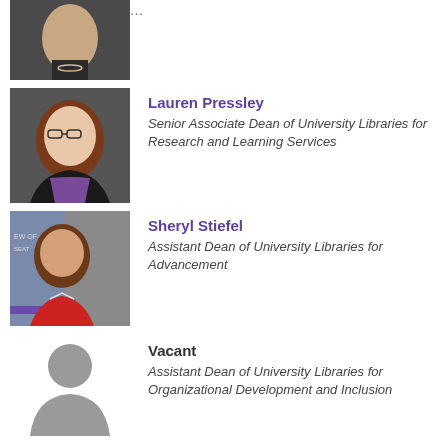[Figure (photo): Partial photo of a woman at the top of the page, cropped]
[Figure (photo): Photo of Lauren Pressley, a woman with glasses and auburn hair]
Lauren Pressley
Senior Associate Dean of University Libraries for Research and Learning Services
[Figure (photo): Photo of Sheryl Stiefel, a woman in a red jacket]
Sheryl Stiefel
Assistant Dean of University Libraries for Advancement
[Figure (illustration): Generic silhouette placeholder image for vacant position]
Vacant
Assistant Dean of University Libraries for Organizational Development and Inclusion